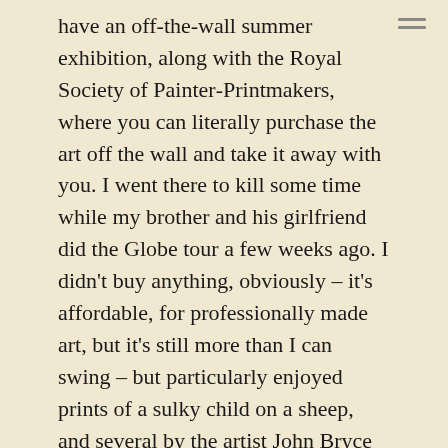have an off-the-wall summer exhibition, along with the Royal Society of Painter-Printmakers, where you can literally purchase the art off the wall and take it away with you. I went there to kill some time while my brother and his girlfriend did the Globe tour a few weeks ago. I didn't buy anything, obviously – it's affordable, for professionally made art, but it's still more than I can swing – but particularly enjoyed prints of a sulky child on a sheep, and several by the artist John Bryce (especially this one).
Thinking: I had a strong disagreement/argument with my housemate's friend in the pub the other day, which was nominally about a variety of things but which at its core, I think, was about what we owe to strangers. I come down on the